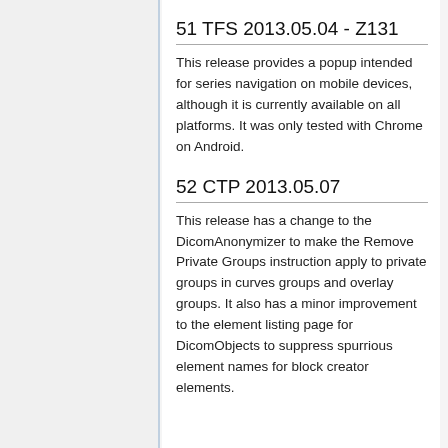51 TFS 2013.05.04 - Z131
This release provides a popup intended for series navigation on mobile devices, although it is currently available on all platforms. It was only tested with Chrome on Android.
52 CTP 2013.05.07
This release has a change to the DicomAnonymizer to make the Remove Private Groups instruction apply to private groups in curves groups and overlay groups. It also has a minor improvement to the element listing page for DicomObjects to suppress spurrious element names for block creator elements.